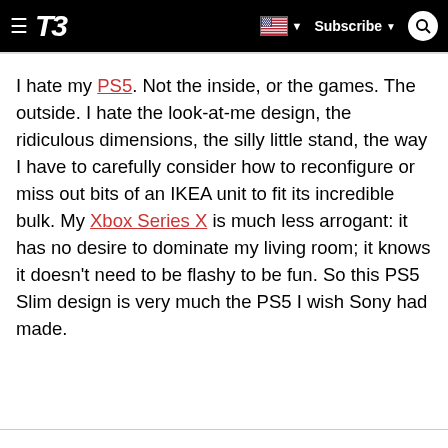T3 | Subscribe
I hate my PS5. Not the inside, or the games. The outside. I hate the look-at-me design, the ridiculous dimensions, the silly little stand, the way I have to carefully consider how to reconfigure or miss out bits of an IKEA unit to fit its incredible bulk. My Xbox Series X is much less arrogant: it has no desire to dominate my living room; it knows it doesn't need to be flashy to be fun. So this PS5 Slim design is very much the PS5 I wish Sony had made.